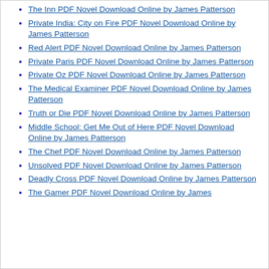The Inn PDF Novel Download Online by James Patterson
Private India: City on Fire PDF Novel Download Online by James Patterson
Red Alert PDF Novel Download Online by James Patterson
Private Paris PDF Novel Download Online by James Patterson
Private Oz PDF Novel Download Online by James Patterson
The Medical Examiner PDF Novel Download Online by James Patterson
Truth or Die PDF Novel Download Online by James Patterson
Middle School: Get Me Out of Here PDF Novel Download Online by James Patterson
The Chef PDF Novel Download Online by James Patterson
Unsolved PDF Novel Download Online by James Patterson
Deadly Cross PDF Novel Download Online by James Patterson
The Gamer PDF Novel Download Online by James